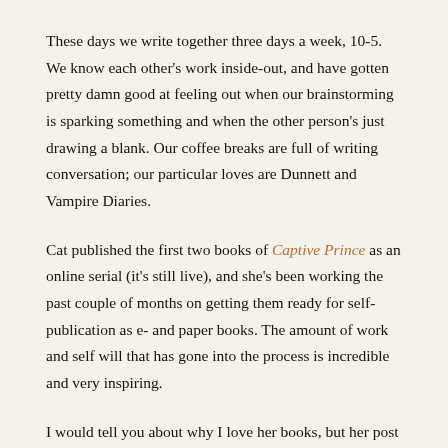These days we write together three days a week, 10-5. We know each other's work inside-out, and have gotten pretty damn good at feeling out when our brainstorming is sparking something and when the other person's just drawing a blank. Our coffee breaks are full of writing conversation; our particular loves are Dunnett and Vampire Diaries.
Cat published the first two books of Captive Prince as an online serial (it's still live), and she's been working the past couple of months on getting them ready for self-publication as e- and paper books. The amount of work and self will that has gone into the process is incredible and very inspiring.
I would tell you about why I love her books, but her post is going to do it for me. It's a master class in tension. It's the